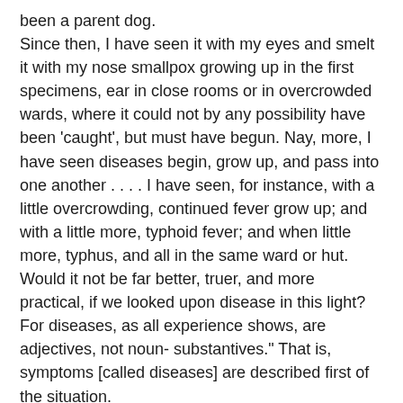been a parent dog. Since then, I have seen it with my eyes and smelt it with my nose smallpox growing up in the first specimens, ear in close rooms or in overcrowded wards, where it could not by any possibility have been 'caught', but must have begun. Nay, more, I have seen diseases begin, grow up, and pass into one another . . . . I have seen, for instance, with a little overcrowding, continued fever grow up; and with a little more, typhoid fever; and when little more, typhus, and all in the same ward or hut. Would it not be far better, truer, and more practical, if we looked upon disease in this light? For diseases, as all experience shows, are adjectives, not noun- substantives." That is, symptoms [called diseases] are described first of the situation. I find legitimate BeChamp's conclusion that what are called germs of the air are fundamentally microzyma's of beings, which are being consumed by the recycling process, i.e., some kind of vegetative digestion — putrefaction or fermentation.